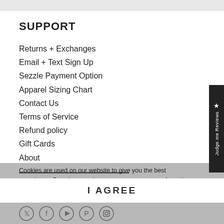SUPPORT
Returns + Exchanges
Email + Text Sign Up
Sezzle Payment Option
Apparel Sizing Chart
Contact Us
Terms of Service
Refund policy
Gift Cards
About
[Figure (logo): Porter Collective logo in grey]
Cookies are used on our website to give you the best experience. By using our site, you agree to our use of cookies.
follow us
I AGREE
[Figure (other): Social media icons: Twitter, Facebook, YouTube, Pinterest, Instagram]